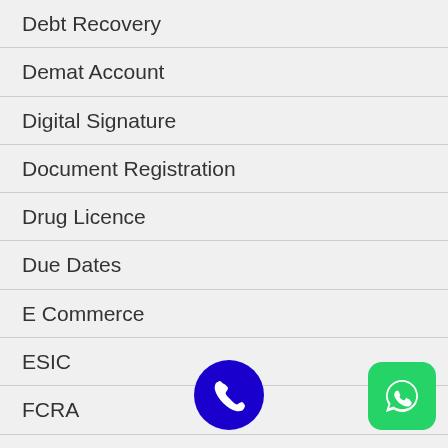Debt Recovery
Demat Account
Digital Signature
Document Registration
Drug Licence
Due Dates
E Commerce
ESIC
FCRA
FDI
FEMA
Foreign Subsidiary
Government Schemes